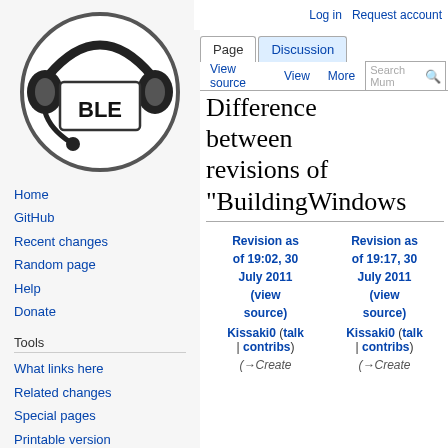[Figure (logo): MumbleWiki logo: circular icon with headphones and BLE text in black and white]
Home
GitHub
Recent changes
Random page
Help
Donate
Tools
What links here
Related changes
Special pages
Printable version
Permanent link
Page information
Log in   Request account
Difference between revisions of "BuildingWindows
| Revision as of 19:02, 30 July 2011 (view source) | Revision as of 19:17, 30 July 2011 (view source) |
| --- | --- |
| Kissaki0 (talk | contribs) | Kissaki0 (talk | contribs) |
| (→Create | (→Create |